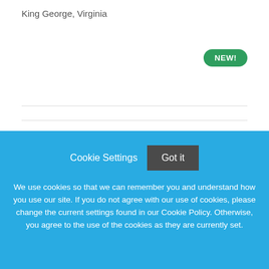King George, Virginia
NEW!
Associate Veterinarian
CC Recruiting, LLC
Sarasota, Florida
NEW!
Cookie Settings   Got it

We use cookies so that we can remember you and understand how you use our site. If you do not agree with our use of cookies, please change the current settings found in our Cookie Policy. Otherwise, you agree to the use of the cookies as they are currently set.